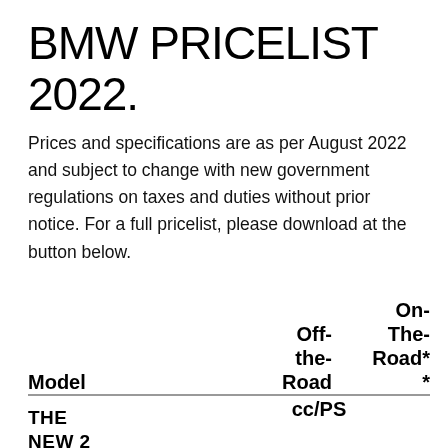BMW PRICELIST 2022.
Prices and specifications are as per August 2022 and subject to change with new government regulations on taxes and duties without prior notice. For a full pricelist, please download at the button below.
| Model | cc/PS | Off-the-Road | On-The-Road** |
| --- | --- | --- | --- |
| THE NEW 2 |  |  |  |
THE
NEW 2